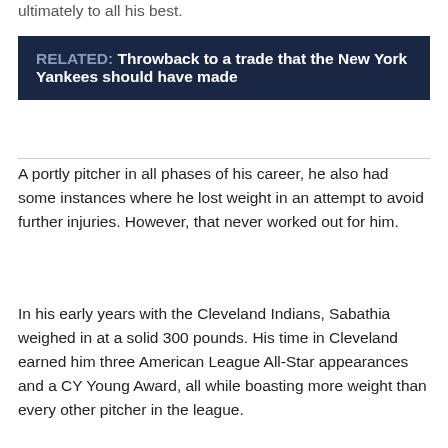ultimately to all his best.
RELATED: Throwback to a trade that the New York Yankees should have made
A portly pitcher in all phases of his career, he also had some instances where he lost weight in an attempt to avoid further injuries. However, that never worked out for him.
In his early years with the Cleveland Indians, Sabathia weighed in at a solid 300 pounds. His time in Cleveland earned him three American League All-Star appearances and a CY Young Award, all while boasting more weight than every other pitcher in the league.